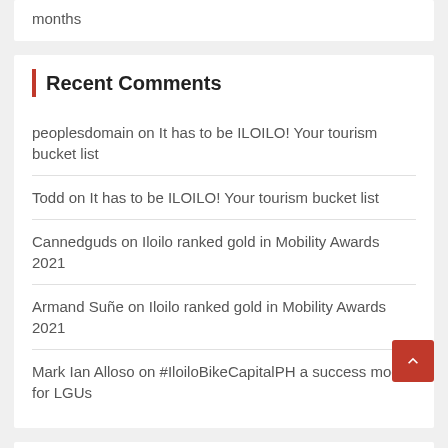months
Recent Comments
peoplesdomain on It has to be ILOILO! Your tourism bucket list
Todd on It has to be ILOILO! Your tourism bucket list
Cannedguds on Iloilo ranked gold in Mobility Awards 2021
Armand Suñe on Iloilo ranked gold in Mobility Awards 2021
Mark Ian Alloso on #IloiloBikeCapitalPH a success model for LGUs
You may Missed